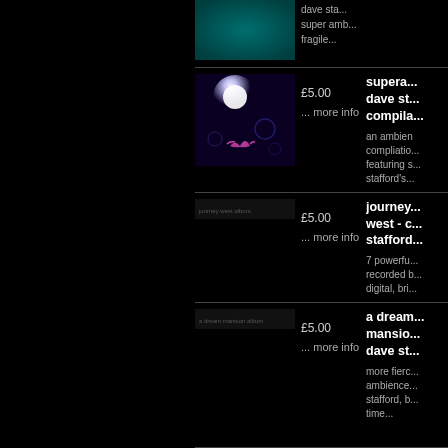[Figure (photo): Teal/turquoise textured album art thumbnail at top]
dave sta... super amb... fragile...
[Figure (photo): Dark purple ambient album art with glowing orb and bird silhouette]
£5.00
... more info
supera... dave st... compila...
an ambien compliatio... featuring s... stafford's...
[Figure (photo): Small horizontal album art strip - journey west]
£5.00
... more info
journey... west - c... stafford...
7 powerfu... recorded b... digital, bri...
[Figure (photo): Small horizontal album art strip - a dream mansion]
£5.00
... more info
a dream... mansio... dave st...
more fierc... ambience... stafford, b... time...